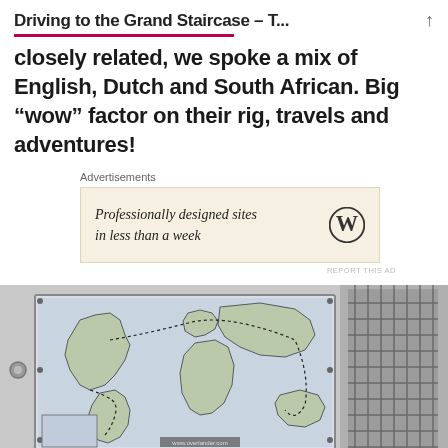Driving to the Grand Staircase – T...
closely related, we spoke a mix of English, Dutch and South African. Big “wow” factor on their rig, travels and adventures!
Advertisements
[Figure (other): WordPress advertisement banner: 'Professionally designed sites in less than a week' with WordPress logo]
REPORT THIS AD
[Figure (photo): Photo of a world map affixed to the side of a vehicle/truck, showing hand-drawn travel routes across continents with dotted lines]